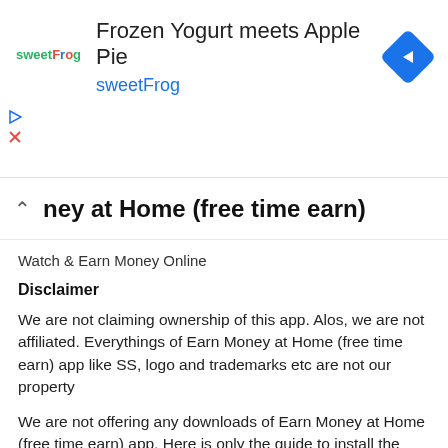[Figure (screenshot): sweetFrog advertisement banner with logo, title 'Frozen Yogurt meets Apple Pie', subtitle 'sweetFrog', and a blue navigation arrow icon on the right.]
ney at Home (free time earn)
Watch & Earn Money Online
Disclaimer
We are not claiming ownership of this app. Alos, we are not affiliated. Everythings of Earn Money at Home (free time earn) app like SS, logo and trademarks etc are not our property
We are not offering any downloads of Earn Money at Home (free time earn) app. Here is only the guide to install the Earn Money at Home (free time earn) app on PC.